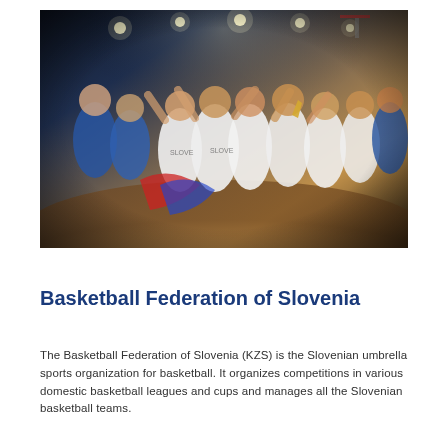[Figure (photo): A basketball team celebrating a championship victory on a court. Players in white Slovenia jerseys are jubilant, some holding a trophy, with coaches in blue shirts. The arena is lit with bright overhead lights.]
Basketball Federation of Slovenia
The Basketball Federation of Slovenia (KZS) is the Slovenian umbrella sports organization for basketball. It organizes competitions in various domestic basketball leagues and cups and manages all the Slovenian basketball teams.